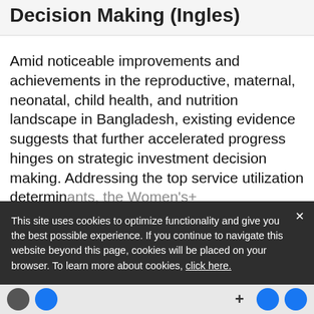Decision Making (Ingles)
Amid noticeable improvements and achievements in the reproductive, maternal, neonatal, child health, and nutrition landscape in Bangladesh, existing evidence suggests that further accelerated progress hinges on strategic investment decision making. Addressing the top service utilization deterrents, the Women's+
This site uses cookies to optimize functionality and give you the best possible experience. If you continue to navigate this website beyond this page, cookies will be placed on your browser. To learn more about cookies, click here.